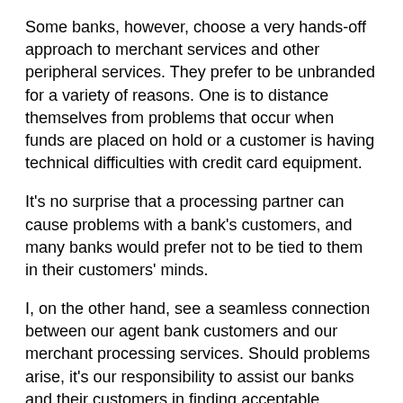Some banks, however, choose a very hands-off approach to merchant services and other peripheral services. They prefer to be unbranded for a variety of reasons. One is to distance themselves from problems that occur when funds are placed on hold or a customer is having technical difficulties with credit card equipment.
It's no surprise that a processing partner can cause problems with a bank's customers, and many banks would prefer not to be tied to them in their customers' minds.
I, on the other hand, see a seamless connection between our agent bank customers and our merchant processing services. Should problems arise, it's our responsibility to assist our banks and their customers in finding acceptable resolutions. Private-labeled or not, nothing we do should ever damage the primary relationship between merchant and bank.
Helping the bank helps you too
An agent bank's local advertising is typically its responsibility, should it choose to market merchant services to its banking customers.